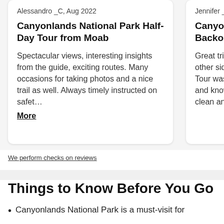Alessandro_C, Aug 2022
Canyonlands National Park Half-Day Tour from Moab
Spectacular views, interesting insights from the guide, exciting routes. Many occasions for taking photos and a nice trail as well. Always timely instructed on safet…
More
On Road…
Jennifer_T
Canyonlands Backcoun…
Great trip… other side… Tour was… and know… clean anc…
We perform checks on reviews
Things to Know Before You Go
Canyonlands National Park is a must-visit for